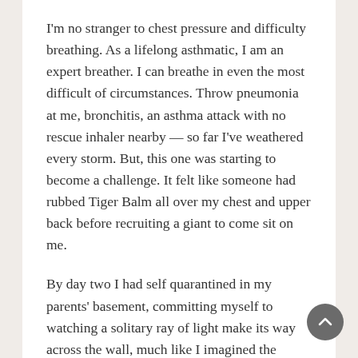I'm no stranger to chest pressure and difficulty breathing. As a lifelong asthmatic, I am an expert breather. I can breathe in even the most difficult of circumstances. Throw pneumonia at me, bronchitis, an asthma attack with no rescue inhaler nearby — so far I've weathered every storm. But, this one was starting to become a challenge. It felt like someone had rubbed Tiger Balm all over my chest and upper back before recruiting a giant to come sit on me.
By day two I had self quarantined in my parents' basement, committing myself to watching a solitary ray of light make its way across the wall, much like I imagined the Count of Monte Cristo had done in the Château d'If.
“Can you bring me breakfast and leave it on the steps?” I texted my mom, a boomer who has been reluctant to buy into social distancing.